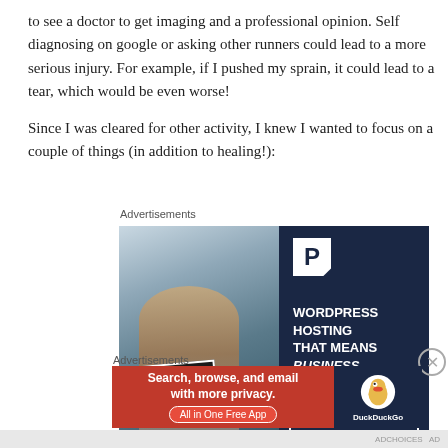to see a doctor to get imaging and a professional opinion. Self diagnosing on google or asking other runners could lead to a more serious injury. For example, if I pushed my sprain, it could lead to a tear, which would be even worse!
Since I was cleared for other activity, I knew I wanted to focus on a couple of things (in addition to healing!):
Advertisements
[Figure (infographic): WordPress Hosting advertisement. Left side shows a woman holding an OPEN sign. Right side has dark navy background with a P logo and text: WORDPRESS HOSTING THAT MEANS BUSINESS. with a LEARN MORE button.]
Advertisements
[Figure (infographic): DuckDuckGo advertisement banner. Red left section says 'Search, browse, and email with more privacy. All in One Free App'. Right dark navy section shows DuckDuckGo logo and name.]